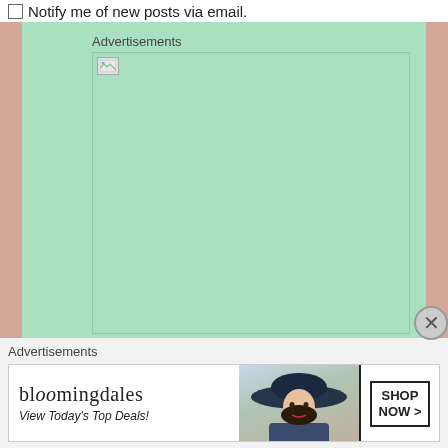Notify me of new posts via email.
Advertisements
[Figure (photo): Advertisement image placeholder with broken image icon in top-left corner, large mint/green background area]
Advertisements
[Figure (photo): Bloomingdales advertisement banner: logo text 'bloomingdales', tagline 'View Today's Top Deals!', woman wearing large navy hat, 'SHOP NOW >' button]